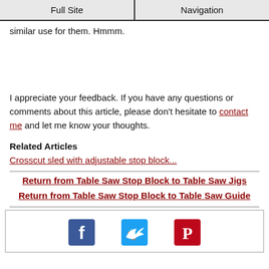Full Site | Navigation
similar use for them. Hmmm.
I appreciate your feedback. If you have any questions or comments about this article, please don't hesitate to contact me and let me know your thoughts.
Related Articles
Crosscut sled with adjustable stop block...
Return from Table Saw Stop Block to Table Saw Jigs
Return from Table Saw Stop Block to Table Saw Guide
[Figure (infographic): Social sharing icons: Facebook (blue), Twitter (blue), Pinterest (red)]